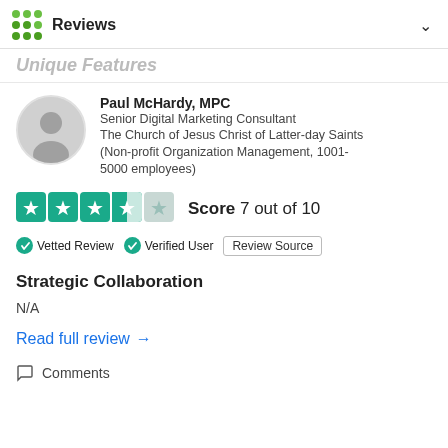Reviews
Unique Features
Paul McHardy, MPC
Senior Digital Marketing Consultant
The Church of Jesus Christ of Latter-day Saints (Non-profit Organization Management, 1001-5000 employees)
[Figure (other): Star rating showing 3.5 out of 5 stars (teal/cyan colored stars), with text: Score 7 out of 10]
Vetted Review   Verified User   Review Source
Strategic Collaboration
N/A
Read full review →
Comments